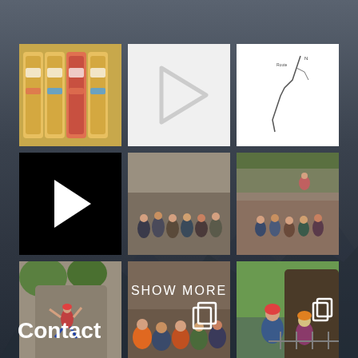[Figure (photo): 3x3 grid of photos/thumbnails showing climbing/outdoor activity images, video thumbnails, and rope equipment photos]
SHOW MORE
Contact